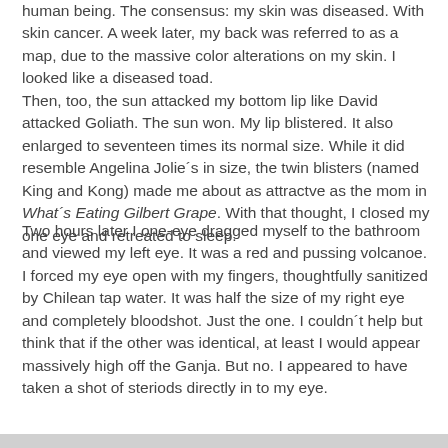human being. The consensus: my skin was diseased. With skin cancer. A week later, my back was referred to as a map, due to the massive color alterations on my skin. I looked like a diseased toad. Then, too, the sun attacked my bottom lip like David attacked Goliath. The sun won. My lip blistered. It also enlarged to seventeen times its normal size. While it did resemble Angelina Jolie´s in size, the twin blisters (named King and Kong) made me about as attractve as the mom in What´s Eating Gilbert Grape. With that thought, I closed my one eye and retreated to sleep.
Two hours later I one-eye dragged myself to the bathroom and viewed my left eye. It was a red and pussing volcanoe. I forced my eye open with my fingers, thoughtfully sanitized by Chilean tap water. It was half the size of my right eye and completely bloodshot. Just the one. I couldn´t help but think that if the other was identical, at least I would appear massively high off the Ganja. But no. I appeared to have taken a shot of steriods directly in to my eye.